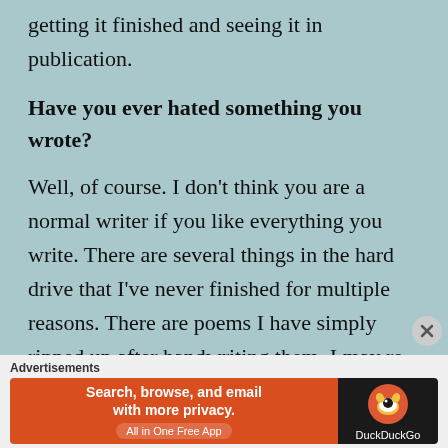getting it finished and seeing it in publication.
Have you ever hated something you wrote?
Well, of course. I don't think you are a normal writer if you like everything you write. There are several things in the hard drive that I've never finished for multiple reasons. There are poems I have simply ripped up after handwriting them. I may re-visit some of those things some day and
Advertisements
[Figure (screenshot): DuckDuckGo advertisement banner: orange left side with text 'Search, browse, and email with more privacy. All in One Free App' and dark right side with DuckDuckGo logo and name.]